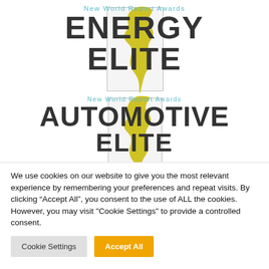[Figure (logo): New World Report Awards Energy Elite badge with yellow North America map silhouette and gray box overlay]
[Figure (logo): New World Report Awards Automotive Elite badge with yellow North America map silhouette and gray box overlay]
We use cookies on our website to give you the most relevant experience by remembering your preferences and repeat visits. By clicking “Accept All”, you consent to the use of ALL the cookies. However, you may visit "Cookie Settings" to provide a controlled consent.